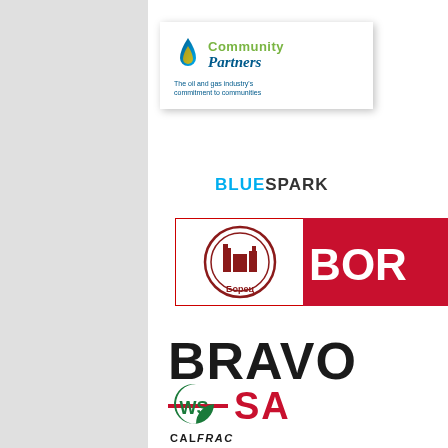[Figure (logo): Community Partners logo — oil droplet icon with 'Community Partners' text and tagline 'The oil and gas industry's commitment to communities']
[Figure (logo): BlueSpark logo — 'BLUE' in cyan and 'SPARK' in dark text]
[Figure (logo): Borec (Бopец) logo — circular industrial emblem on white panel with red background and 'BOR' text (partially visible)]
[Figure (logo): BRAVO logo — large bold black 'BRAVO' text (partially cut off) with red horizontal line and 'SA' in red below]
[Figure (logo): CalFrac logo — green crescent C with 'WS' letters and 'CalFrac' wordmark below]